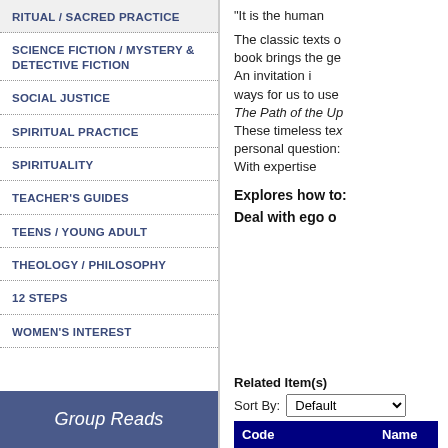RITUAL / SACRED PRACTICE
SCIENCE FICTION / MYSTERY & DETECTIVE FICTION
SOCIAL JUSTICE
SPIRITUAL PRACTICE
SPIRITUALITY
TEACHER'S GUIDES
TEENS / YOUNG ADULT
THEOLOGY / PHILOSOPHY
12 STEPS
WOMEN'S INTEREST
Group Reads
“It is the human
The classic texts c book brings the ge An invitation i ways for us to use The Path of the Up These timeless te personal question: With expertise
Explores how to:
Deal with ego o
Related Item(s)
Sort By: Default
| Code | Name |
| --- | --- |